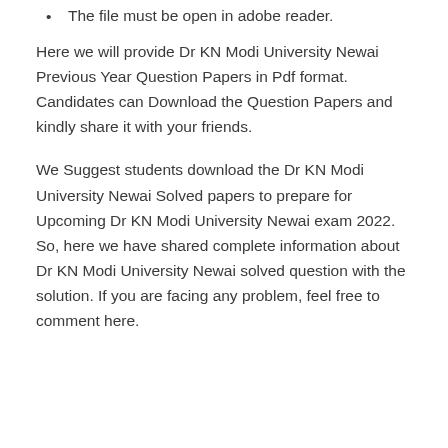The file must be open in adobe reader.
Here we will provide Dr KN Modi University Newai Previous Year Question Papers in Pdf format. Candidates can Download the Question Papers and kindly share it with your friends.
We Suggest students download the Dr KN Modi University Newai Solved papers to prepare for Upcoming Dr KN Modi University Newai exam 2022. So, here we have shared complete information about Dr KN Modi University Newai solved question with the solution. If you are facing any problem, feel free to comment here.